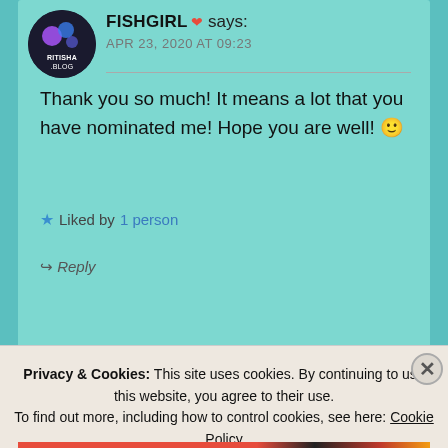FISHGIRL ❤ says:
APR 23, 2020 AT 09:23
Thank you so much! It means a lot that you have nominated me! Hope you are well! 🙂
Liked by 1 person
↪ Reply
ELIZA says:
Privacy & Cookies: This site uses cookies. By continuing to use this website, you agree to their use. To find out more, including how to control cookies, see here: Cookie Policy
Close and accept